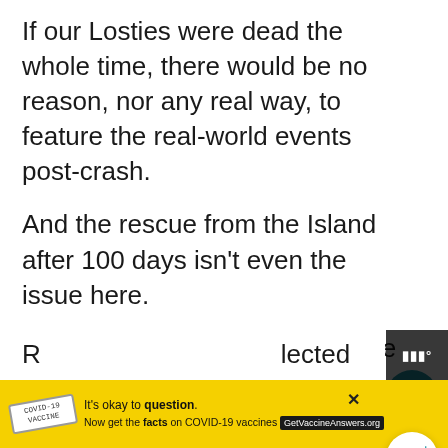If our Losties were dead the whole time, there would be no reason, nor any real way, to feature the real-world events post-crash.
And the rescue from the Island after 100 days isn't even the issue here.
In season 3, Jack is held captive in the Hydra station. Ben Linus informs Jack how during the time since the crash various things have happened in the real world.
These include: Superman actor Christopher R... P...lected
[Figure (screenshot): COVID-19 vaccine ad banner at bottom with yellow background. Text: It's okay to question. Now get the facts on COVID-19 vaccines. GetVaccineAnswers.org]
[Figure (logo): Watermark logo bottom right, dark background with white letters resembling a broadcast network logo]